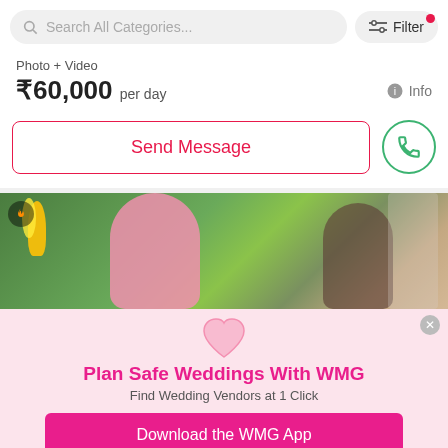Search All Categories...  Filter
Photo + Video
₹60,000 per day
Info
Send Message
[Figure (photo): Wedding photo showing a bride in pink attire with flowers, and another person, outdoors with greenery in the background. A flame/fire badge icon is visible top-left.]
Plan Safe Weddings With WMG
Find Wedding Vendors at 1 Click
Download the WMG App